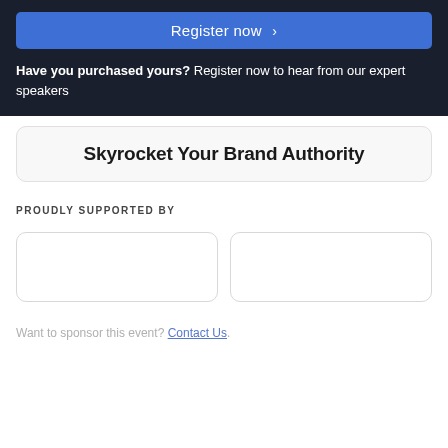Register now >
Have you purchased yours? Register now to hear from our expert speakers
Skyrocket Your Brand Authority
PROUDLY SUPPORTED BY
[Figure (other): Two empty sponsor logo placeholder boxes side by side]
Want to sponsor this event? Contact Us.